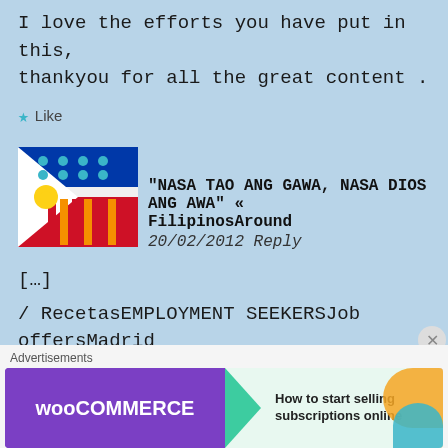I love the efforts you have put in this, thankyou for all the great content .
Like
[Figure (illustration): Philippine flag or seal avatar icon]
“NASA TAO ANG GAWA, NASA DIOS ANG AWA” « FilipinosAround
20/02/2012 Reply
[...]
/ RecetasEMPLOYMENT SEEKERSJob offersMadrid job offer/sInternational
[Figure (screenshot): WooCommerce advertisement banner: How to start selling subscriptions online]